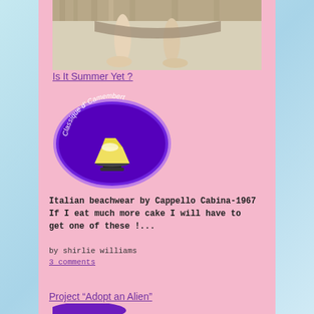[Figure (photo): Photo showing bare feet and legs of a person, with fabric/curtain in background]
Is It Summer Yet ?
[Figure (logo): Classique d'Camembert logo with cheese on a cake stand, purple oval background]
Italian beachwear by Cappello Cabina-1967
If I eat much more cake I will have to get one of these !...
by shirlie williams
3 comments
Project “Adopt an Alien”
[Figure (logo): Partial Classique d'Camembert logo, purple, partially visible at bottom]